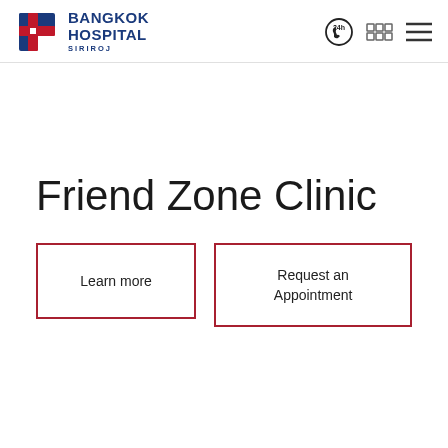[Figure (logo): Bangkok Hospital Siriroj logo with red cross/B icon and blue text reading BANGKOK HOSPITAL SIRIROJ]
[Figure (infographic): Navigation icons: 24h phone icon, Thai language selector, and hamburger menu]
Friend Zone Clinic
Learn more
Request an Appointment